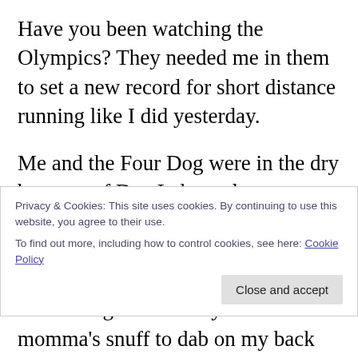Have you been watching the Olympics? They needed me in them to set a new record for short distance running like I did yesterday.
Me and the Four Dog were in the dry bottoms of Day Lake early yesterday. As I was climbing the ladder to get on the porch I heard a sudden buzz of wings, then it felt like a .22 got me on my left shoulder. Dad gum red wasp had put a stinger in me; to the bone it felt like. I literally flew across the deck trying to out run the burning pain on my
Privacy & Cookies: This site uses cookies. By continuing to use this website, you agree to their use.
To find out more, including how to control cookies, see here: Cookie Policy
Close and accept
momma's snuff to dab on my back